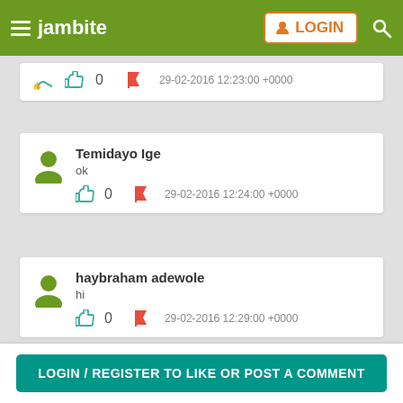jambite  LOGIN
0   29-02-2016 12:23:00 +0000
Temidayo Ige
ok
0   29-02-2016 12:24:00 +0000
haybraham adewole
hi
0   29-02-2016 12:29:00 +0000
LOGIN / REGISTER TO LIKE OR POST A COMMENT